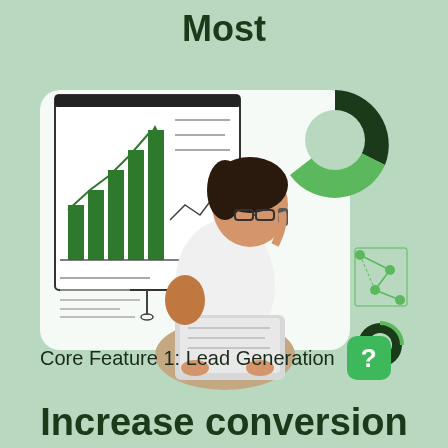Most
[Figure (illustration): A woman sitting cross-legged using a laptop and talking on the phone, surrounded by business graphics including a bar chart presentation board, a donut chart, and a network diagram, all on a light green background.]
Core Feature 1: Lead Generation
Increase conversion